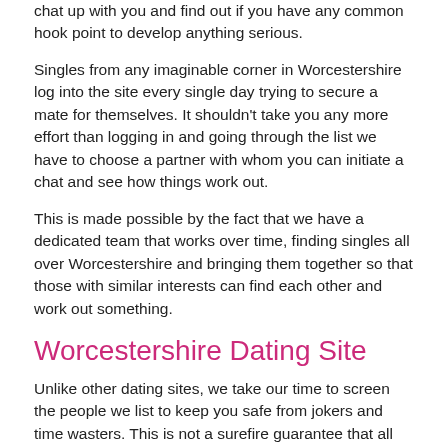chat up with you and find out if you have any common hook point to develop anything serious.
Singles from any imaginable corner in Worcestershire log into the site every single day trying to secure a mate for themselves. It shouldn't take you any more effort than logging in and going through the list we have to choose a partner with whom you can initiate a chat and see how things work out.
This is made possible by the fact that we have a dedicated team that works over time, finding singles all over Worcestershire and bringing them together so that those with similar interests can find each other and work out something.
Worcestershire Dating Site
Unlike other dating sites, we take our time to screen the people we list to keep you safe from jokers and time wasters. This is not a surefire guarantee that all the people you meet will have the same interest as you, but we at least try our best to ward off time wasters so you can have a quality list of prospects from which to choose from.